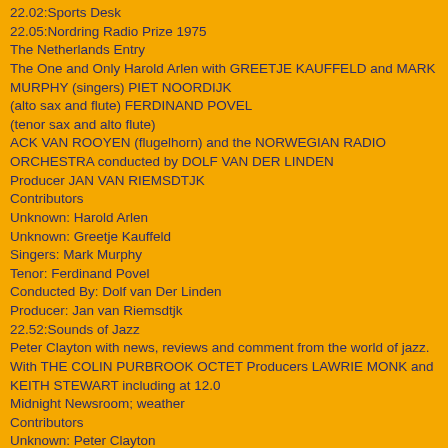22.02:Sports Desk
22.05:Nordring Radio Prize 1975
The Netherlands Entry
The One and Only Harold Arlen with GREETJE KAUFFELD and MARK MURPHY (singers) PIET NOORDIJK
(alto sax and flute) FERDINAND POVEL
(tenor sax and alto flute)
ACK VAN ROOYEN (flugelhorn) and the NORWEGIAN RADIO ORCHESTRA conducted by DOLF VAN DER LINDEN
Producer JAN VAN RIEMSDTJK
Contributors
Unknown: Harold Arlen
Unknown: Greetje Kauffeld
Singers: Mark Murphy
Tenor: Ferdinand Povel
Conducted By: Dolf van Der Linden
Producer: Jan van Riemsdtjk
22.52:Sounds of Jazz
Peter Clayton with news, reviews and comment from the world of jazz. With THE COLIN PURBROOK OCTET Producers LAWRIE MONK and KEITH STEWART including at 12.0
Midnight Newsroom; weather
Contributors
Unknown: Peter Clayton
Unknown: Keith Stewart
0.31:* am News Summary
FOR THE HONOUR OF GREYSKULL